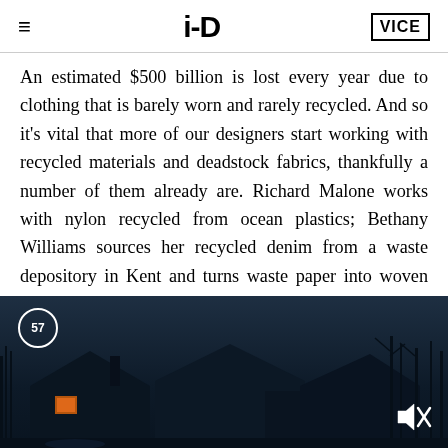i-D | VICE
An estimated $500 billion is lost every year due to clothing that is barely worn and rarely recycled. And so it's vital that more of our designers start working with recycled materials and deadstock fabrics, thankfully a number of them already are. Richard Malone works with nylon recycled from ocean plastics; Bethany Williams sources her recycled denim from a waste depository in Kent and turns waste paper into woven textiles; Dutch designer Duran Lantink splices second-hand designer clothes into mash-up hybrids; Phoebe English
[Figure (photo): Dark nighttime photograph of a house silhouette with a dim orange light visible in a window, against a dark blue-grey sky with bare tree branches visible]
57